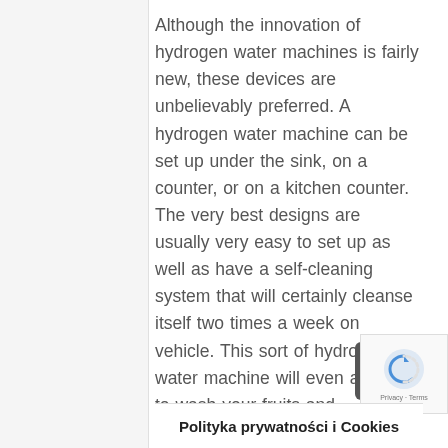Although the innovation of hydrogen water machines is fairly new, these devices are unbelievably preferred. A hydrogen water machine can be set up under the sink, on a counter, or on a kitchen counter. The very best designs are usually very easy to set up as well as have a self-cleaning system that will certainly cleanse itself two times a week on vehicle. This sort of hydrogen water machine will even aid you to wash your fruits and vegetables. The advantages of a hydrogen water machine are lots of, as well as it is
Polityka prywatności i Cookies